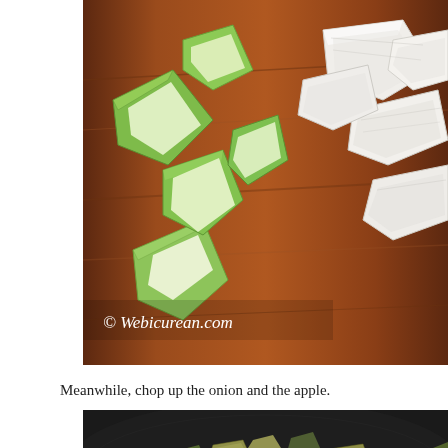[Figure (photo): Chopped green apple pieces and chopped white onion pieces on a wooden cutting board. Watermark reads: © Webicurean.com]
Meanwhile, chop up the onion and the apple.
[Figure (photo): Chopped apple and onion pieces cooking in a dark skillet or pan, seen from above.]